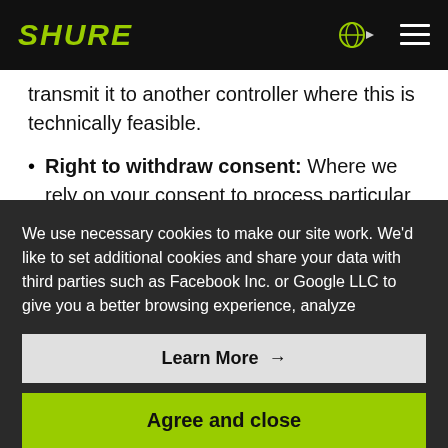SHURE
transmit it to another controller where this is technically feasible.
Right to withdraw consent: Where we rely on your consent to process particular information and you have provided us with your consent to process data, you have the right to withdraw your consent at any time. The withdrawal of
We use necessary cookies to make our site work. We'd like to set additional cookies and share your data with third parties such as Facebook Inc. or Google LLC to give you a better browsing experience, analyze
Learn More →
Agree and close